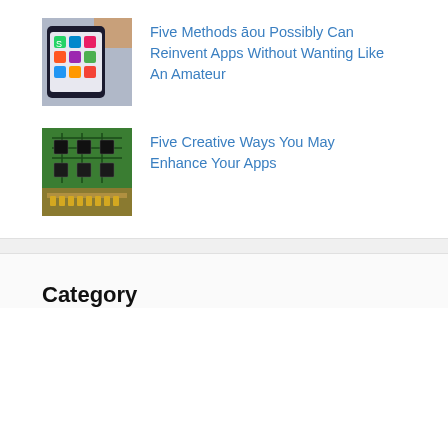[Figure (photo): Smartphone showing app icons on screen, held by hand]
Five Methods āou Possibly Can Reinvent Apps Without Wanting Like An Amateur
[Figure (photo): Close-up of green circuit board / RAM memory module]
Five Creative Ways You May Enhance Your Apps
Category